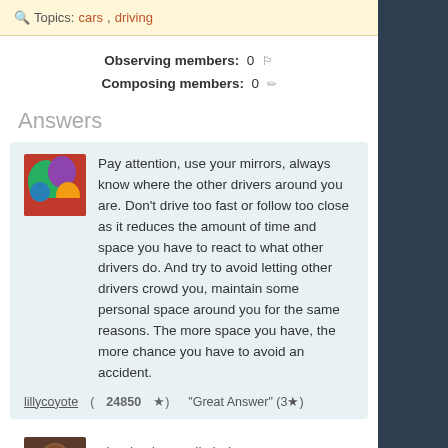Topics: cars, driving
Observing members: 0
Composing members: 0
Answers
Pay attention, use your mirrors, always know where the other drivers around you are. Don't drive too fast or follow too close as it reduces the amount of time and space you have to react to what other drivers do. And try to avoid letting other drivers crowd you, maintain some personal space around you for the same reasons. The more space you have, the more chance you have to avoid an accident.
lillycoyote (24850 ★) "Great Answer" (3★)
Thanks that really helps
Kanyan (205 ★) "Great Answer" (0★)